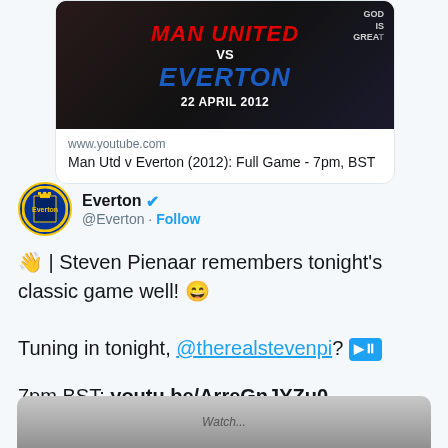[Figure (screenshot): Match graphic showing Man United vs Everton 22 April 2012 with players in action on dark background]
www.youtube.com
Man Utd v Everton (2012): Full Game - 7pm, BST
Everton @Everton · Follow
👋 | Steven Pienaar remembers tonight's classic game well! 😄
Tuning in tonight, @therealstevenpi? ⏭
7pm BST: youtu.be/ArreGnJYZu0
[Figure (screenshot): Bottom thumbnail showing partial image of a person, partially cut off at bottom of page]